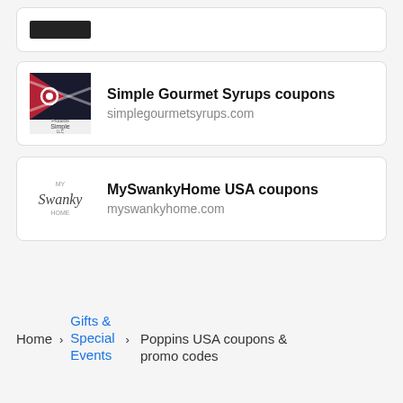[Figure (logo): Partial card with black logo at top]
Simple Gourmet Syrups coupons
simplegourmetsyrups.com
[Figure (logo): Simple Products LLC logo - Ohio flag style black and white]
MySwankyHome USA coupons
myswankyhome.com
[Figure (logo): My Swanky Home cursive logo]
Home
Gifts & Special Events
Poppins USA coupons & promo codes